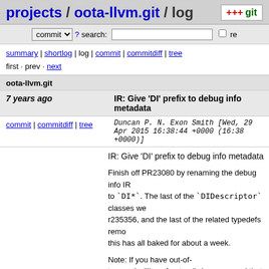projects / oota-llvm.git / log
commit search: re
summary | shortlog | log | commit | commitdiff | tree
first · prev · next
oota-llvm.git
7 years ago	IR: Give 'DI' prefix to debug info metadata
commit | commitdiff | tree	Duncan P. N. Exon Smith [Wed, 29 Apr 2015 16:38:44 +0000 (16:38 +0000)]
IR: Give 'DI' prefix to debug info metadata

Finish off PR23080 by renaming the debug info IR to `DI*`. The last of the `DIDescriptor` classes we r235356, and the last of the related typedefs remo this has all baked for about a week.

Note: If you have out-of-tree code (like a frontend), I recommend that you get everything compiling and tests passing wi commit before updating to this one. It'll be easier what code is using the `DIDescriptor` hierarchy an updated, and I think you're extremely unlikely to in course.